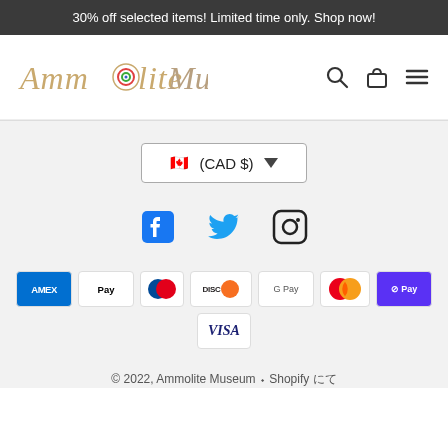30% off selected items! Limited time only. Shop now!
[Figure (logo): Ammolite Museum logo in cursive style with colorful spiral in the letter o]
🔍 🛍 ☰
🇨🇦 (CAD $) ▾
[Figure (other): Social media icons: Facebook, Twitter, Instagram]
[Figure (other): Payment method icons: AMEX, Apple Pay, Diners Club, Discover, Google Pay, Mastercard, Shop Pay, Visa]
© 2022, Ammolite Museum • Shopify にて